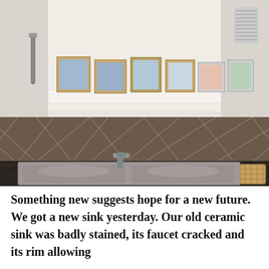[Figure (photo): A kitchen scene showing a double-basin gray sink set into a dark granite countertop. Behind the sink is a dark brown tile backsplash with a diamond pattern. Above the backsplash are white cabinets with a shelf holding six framed family photographs. A gray pull-out faucet is mounted between the two basins. A wicker basket is visible on the right side of the counter.]
Something new suggests hope for a new future. We got a new sink yesterday. Our old ceramic sink was badly stained, its faucet cracked and its rim allowing